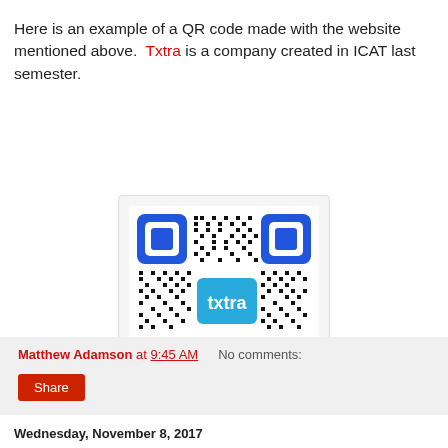Here is an example of a QR code made with the website mentioned above.  Txtra is a company created in ICAT last semester.
[Figure (other): QR code image with blue corner markers and 'txtra' logo in the center on a cyan background]
Matthew Adamson at 9:45 AM    No comments:
Share
Wednesday, November 8, 2017